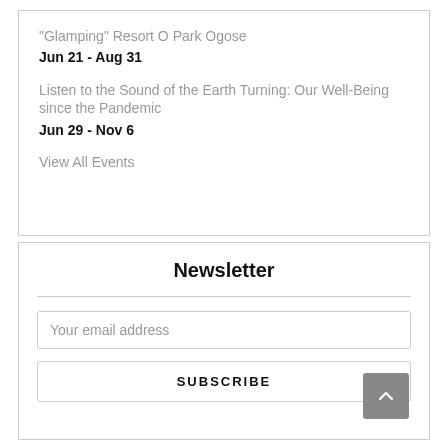“Glamping” Resort O Park Ogose
Jun 21 - Aug 31
Listen to the Sound of the Earth Turning: Our Well-Being since the Pandemic
Jun 29 - Nov 6
View All Events
Newsletter
Your email address
SUBSCRIBE